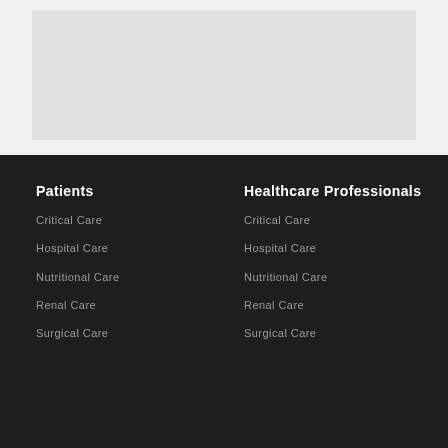[Figure (photo): Gray placeholder image area at the top of the page]
Patients
Critical Care
Hospital Care
Nutritional Care
Renal Care
Surgical Care
Healthcare Professionals
Critical Care
Hospital Care
Nutritional Care
Renal Care
Surgical Care